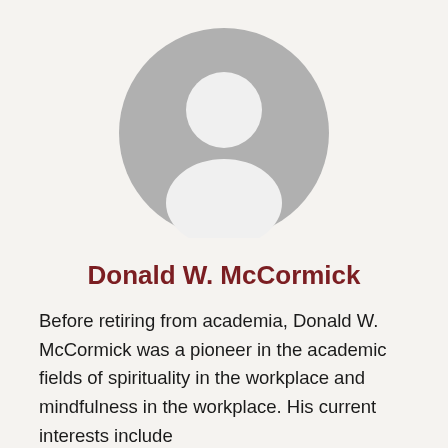[Figure (illustration): Generic user avatar placeholder: a grey circle containing a white silhouette of a person (head and shoulders).]
Donald W. McCormick
Before retiring from academia, Donald W. McCormick was a pioneer in the academic fields of spirituality in the workplace and mindfulness in the workplace. His current interests include